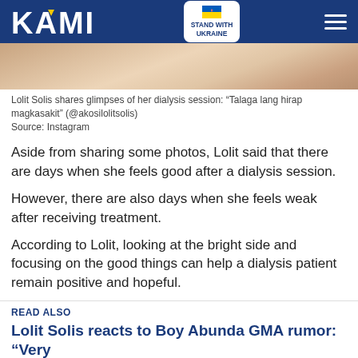KAMI — STAND WITH UKRAINE
[Figure (photo): Partial photo of Lolit Solis during dialysis session]
Lolit Solis shares glimpses of her dialysis session: “Talaga lang hirap magkasakit” (@akosilolitsolis)
Source: Instagram
Aside from sharing some photos, Lolit said that there are days when she feels good after a dialysis session.
However, there are also days when she feels weak after receiving treatment.
According to Lolit, looking at the bright side and focusing on the good things can help a dialysis patient remain positive and hopeful.
READ ALSO
Lolit Solis reacts to Boy Abunda GMA rumor: “Very